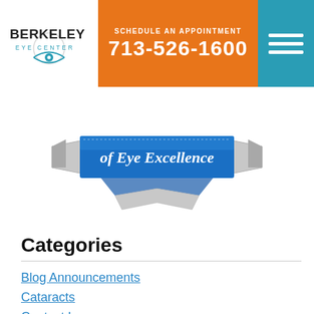SCHEDULE AN APPOINTMENT 713-526-1600
[Figure (logo): Berkeley Eye Center logo with stylized eye icon]
[Figure (illustration): Blue ribbon/badge graphic with text 'of Eye Excellence']
Categories
Blog Announcements
Cataracts
Contact Lenses
Dry Eyes
Eye Conditions
Eye Exam
Eye Glasses